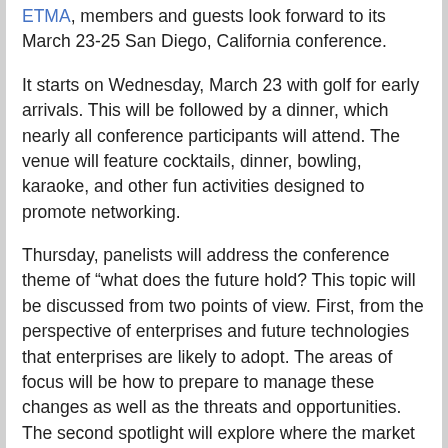ETMA, members and guests look forward to its March 23-25 San Diego, California conference.
It starts on Wednesday, March 23 with golf for early arrivals. This will be followed by a dinner, which nearly all conference participants will attend. The venue will feature cocktails, dinner, bowling, karaoke, and other fun activities designed to promote networking.
Thursday, panelists will address the conference theme of “what does the future hold? This topic will be discussed from two points of view. First, from the perspective of enterprises and future technologies that enterprises are likely to adopt. The areas of focus will be how to prepare to manage these changes as well as the threats and opportunities. The second spotlight will explore where the market is headed for solution providers.